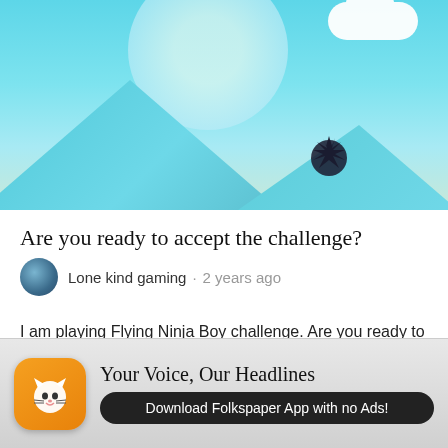[Figure (screenshot): Game screenshot of Flying Ninja Boy — teal sky background with mountains, a large white cloud in upper right, glowing sun circle, and a small dark ninja character silhouette in the lower right area.]
Are you ready to accept the challenge?
Lone kind gaming  •  2 years ago
I am playing Flying Ninja Boy challenge. Are you ready to be challenged? Flying ninja boy is a new and exciting endless runner coin collector game, where you have to collect the coins to maximize your score and avoid the moving electric bombs. You can throw spears at the bombs to destroy them before
[Figure (logo): Folkspaper app advertisement banner. Orange rounded-square app icon with white cat face logo. Text: 'Your Voice, Our Headlines' and 'Download Folkspaper App with no Ads!']